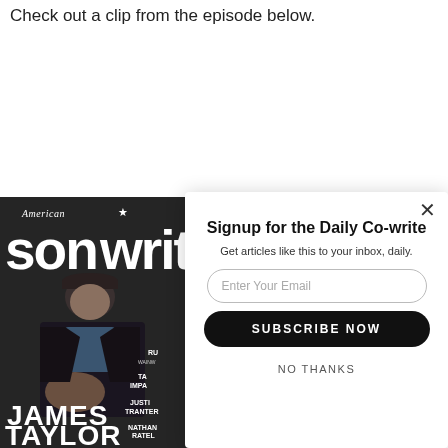Check out a clip from the episode below.
[Figure (photo): American Songwriter magazine cover featuring James Taylor in a dark jacket and cap, seated pose, with magazine title text and contributor names visible]
Signup for the Daily Co-write
Get articles like this to your inbox, daily.
Enter Your Email
SUBSCRIBE NOW
NO THANKS